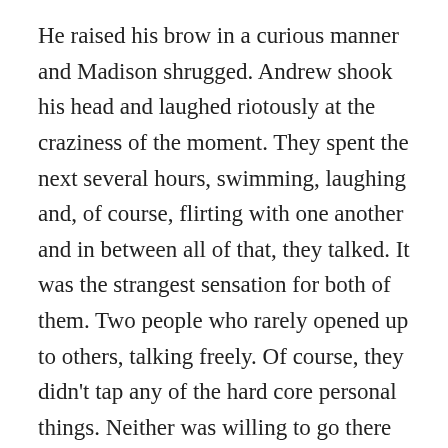He raised his brow in a curious manner and Madison shrugged. Andrew shook his head and laughed riotously at the craziness of the moment. They spent the next several hours, swimming, laughing and, of course, flirting with one another and in between all of that, they talked. It was the strangest sensation for both of them. Two people who rarely opened up to others, talking freely. Of course, they didn't tap any of the hard core personal things. Neither was willing to go there just yet but both had the sense that they could when the time was right. Eventually, Callie and Jayden motioned to them that the food was ready. As they emerged from the water, Andrew once again wrapped his hand around Madison's, holding it tightly as they made their way to the